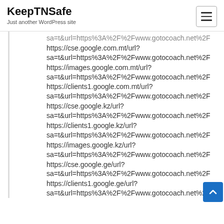KeepTNSafe
Just another WordPress site
https://cse.google.com.mt/url?
sa=t&url=https%3A%2F%2Fwww.gotocoach.net%2F
https://images.google.com.mt/url?
sa=t&url=https%3A%2F%2Fwww.gotocoach.net%2F
https://clients1.google.com.mt/url?
sa=t&url=https%3A%2F%2Fwww.gotocoach.net%2F
https://cse.google.kz/url?
sa=t&url=https%3A%2F%2Fwww.gotocoach.net%2F
https://clients1.google.kz/url?
sa=t&url=https%3A%2F%2Fwww.gotocoach.net%2F
https://images.google.kz/url?
sa=t&url=https%3A%2F%2Fwww.gotocoach.net%2F
https://cse.google.ge/url?
sa=t&url=https%3A%2F%2Fwww.gotocoach.net%2F
https://clients1.google.ge/url?
sa=t&url=https%3A%2F%2Fwww.gotocoach.net%2F